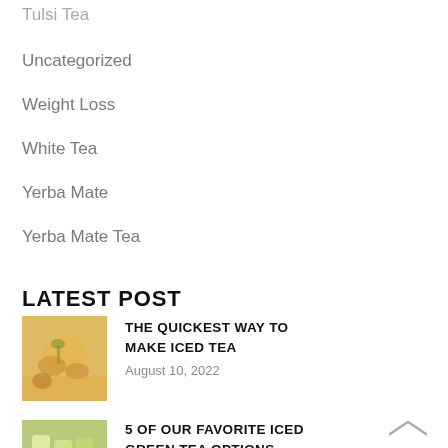Tulsi Tea
Uncategorized
Weight Loss
White Tea
Yerba Mate
Yerba Mate Tea
LATEST POST
[Figure (photo): Iced tea in a glass jar with citrus slices and herbs, yellow-orange tones]
THE QUICKEST WAY TO MAKE ICED TEA
August 10, 2022
[Figure (photo): Green iced tea drinks in tall glasses with limes and green packaging]
5 OF OUR FAVORITE ICED GREEN TEA OPTIONS
July 12, 2022